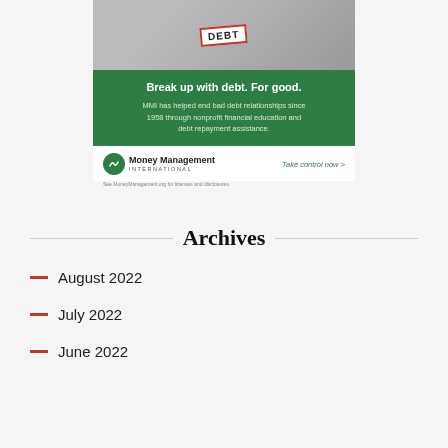[Figure (illustration): Advertisement for Money Management International showing a person wearing a name tag that says DEBT, with green banner reading 'Break up with debt. For good.' and MMI logo with 'Take control now >' CTA]
Archives
August 2022
July 2022
June 2022